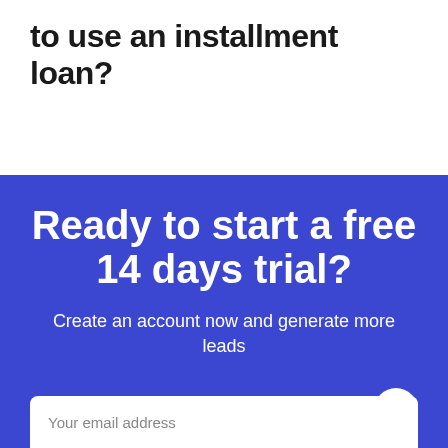to use an installment loan?
Ready to start a free 14 days trial?
Create an account now and generate more leads
Your email address